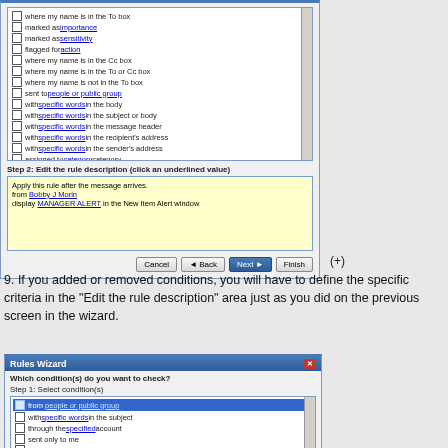[Figure (screenshot): Rules Wizard dialog (top portion) showing a checkbox list of conditions and a rule description text area with Apply this rule after the message arrives / from Bobby J Morin / display MANAGER ALERT in the New Item Alert window, with Cancel, Back, Next, Finish buttons]
(+)
9. If you added or removed conditions, you will have to define the specific criteria in the "Edit the rule description" area just as you did on the previous screen in the wizard.
[Figure (screenshot): Rules Wizard dialog (bottom portion) showing full conditions list with 'from people or public group' checked/highlighted, and rule description area showing from Bobby J Morin / display MANAGER ALERT in the New Item Alert window]